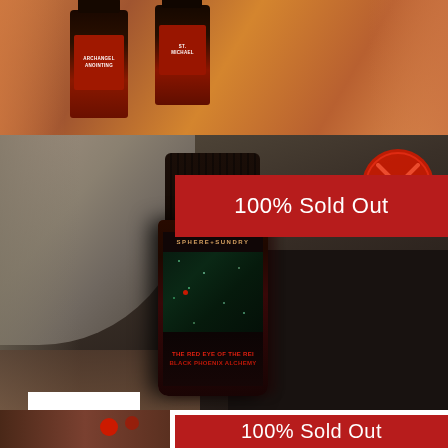[Figure (photo): Photo of small anointing oil bottles being held in hands, with red and dark labels reading 'Archangel Anointing' and 'St. Michael']
[Figure (photo): Photo of a dark glass bottle labeled 'SPHERE+SUNDRY' and 'THE RED EYE OF THE RED / BLACK PHOENIX ALCHEMY' on a dark background with rock/stone on the left and a red wax seal stamp on the right. A white shopping cart icon overlay is visible in the lower left.]
100% Sold Out
[Figure (photo): Partial photo at the bottom showing dark reddish objects, partially visible]
100% Sold Out